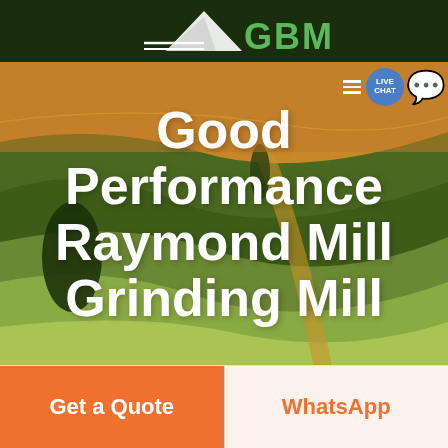GBM
[Figure (screenshot): Green navigation bar with hamburger menu icon and Live Chat button with blue circle and chat bubble icon on the right]
[Figure (photo): Aerial landscape photo of rolling agricultural fields with warm orange-green tones, with hedgerows and a path cutting through]
Good Performance Raymond Mill Grinding Mill
Get a Quote
WhatsApp